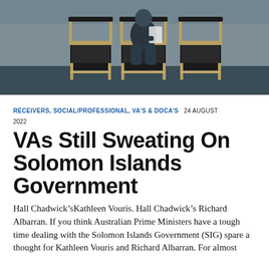[Figure (photo): A person sitting on a chair holding papers, with two empty chairs beside them, in a waiting room setting. Dark moody background.]
RECEIVERS, SOCIAL/PROFESSIONAL, VA'S & DOCA'S   24 AUGUST 2022
VAs Still Sweating On Solomon Islands Government
Hall Chadwick’sKathleen Vouris. Hall Chadwick’s Richard Albarran. If you think Australian Prime Ministers have a tough time dealing with the Solomon Islands Government (SIG) spare a thought for Kathleen Vouris and Richard Albarran. For almost